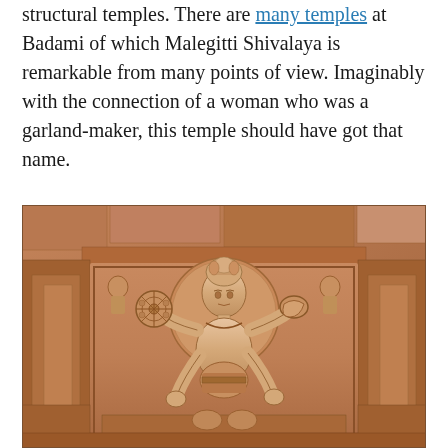structural temples. There are many temples at Badami of which Malegitti Shivalaya is remarkable from many points of view. Imaginably with the connection of a woman who was a garland-maker, this temple should have got that name.
[Figure (photo): Stone relief sculpture at Malegitti Shivalaya temple in Badami, showing a multi-armed deity figure carved in sandstone, surrounded by decorative stone masonry.]